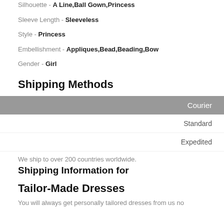Silhouette - A Line,Ball Gown,Princess
Sleeve Length - Sleeveless
Style - Princess
Embellishment - Appliques,Bead,Beading,Bow
Gender - Girl
Shipping Methods
| Courier |
| --- |
| Standard |
| Expedited |
We ship to over 200 countries worldwide.
Shipping Information for
Tailor-Made Dresses
You will always get personally tailored dresses from us no